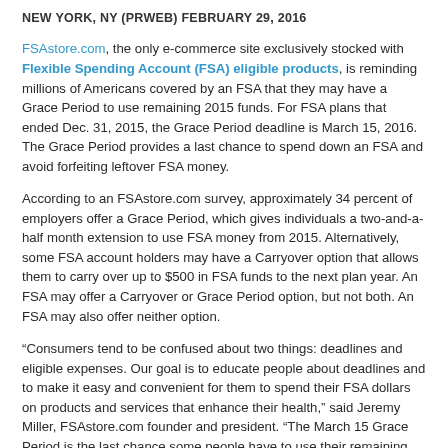NEW YORK, NY (PRWEB) FEBRUARY 29, 2016
FSAstore.com, the only e-commerce site exclusively stocked with Flexible Spending Account (FSA) eligible products, is reminding millions of Americans covered by an FSA that they may have a Grace Period to use remaining 2015 funds. For FSA plans that ended Dec. 31, 2015, the Grace Period deadline is March 15, 2016. The Grace Period provides a last chance to spend down an FSA and avoid forfeiting leftover FSA money.
According to an FSAstore.com survey, approximately 34 percent of employers offer a Grace Period, which gives individuals a two-and-a-half month extension to use FSA money from 2015. Alternatively, some FSA account holders may have a Carryover option that allows them to carry over up to $500 in FSA funds to the next plan year. An FSA may offer a Carryover or Grace Period option, but not both. An FSA may also offer neither option.
“Consumers tend to be confused about two things: deadlines and eligible expenses. Our goal is to educate people about deadlines and to make it easy and convenient for them to spend their FSA dollars on products and services that enhance their health,” said Jeremy Miller, FSAstore.com founder and president. “The March 15 Grace Period is the last chance some people have to use their remaining funds, or risk losing their